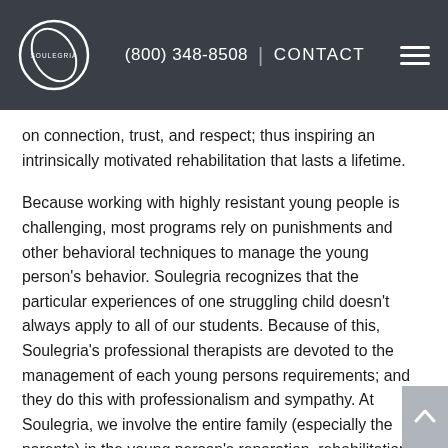(800) 348-8508 | CONTACT
on connection, trust, and respect; thus inspiring an intrinsically motivated rehabilitation that lasts a lifetime.
Because working with highly resistant young people is challenging, most programs rely on punishments and other behavioral techniques to manage the young person's behavior. Soulegria recognizes that the particular experiences of one struggling child doesn't always apply to all of our students. Because of this, Soulegria's professional therapists are devoted to the management of each young persons requirements; and they do this with professionalism and sympathy. At Soulegria, we involve the entire family (especially the parents) in the young person's reparation, rehabilitation, and direction. Soulegria has served numerous struggling young people in the past, including those from Michigan.